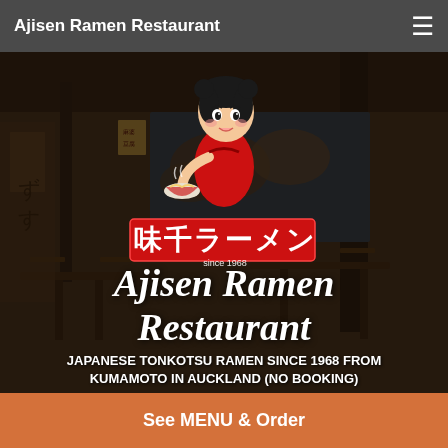Ajisen Ramen Restaurant
[Figure (photo): Hero banner image of Ajisen Ramen restaurant interior with dark overlay. Shows dining tables, chairs, Japanese decor, wall mural with world map. Overlaid with Ajisen Ramen mascot logo (cartoon girl holding a ramen bowl), Japanese text logo reading 味千ラーメン, and the text 'Ajisen Ramen Restaurant' and 'JAPANESE TONKOTSU RAMEN SINCE 1968 FROM KUMAMOTO IN AUCKLAND (NO BOOKING)']
Ajisen Ramen Restaurant
JAPANESE TONKOTSU RAMEN SINCE 1968 FROM KUMAMOTO IN AUCKLAND (NO BOOKING)
See MENU & Order